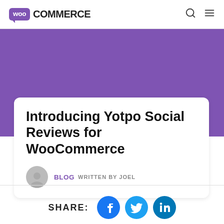WOO COMMERCE
[Figure (illustration): Purple hero banner background for blog post header]
Introducing Yotpo Social Reviews for WooCommerce
BLOG  WRITTEN BY JOEL
SHARE:
[Figure (illustration): Social share icons: Facebook, Twitter, LinkedIn]